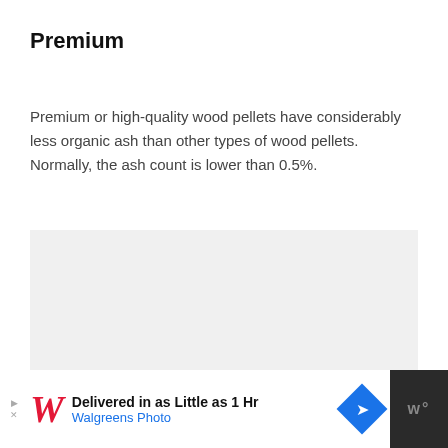Premium
Premium or high-quality wood pellets have considerably less organic ash than other types of wood pellets. Normally, the ash count is lower than 0.5%.
[Figure (photo): Image placeholder area with light gray background]
[Figure (other): Advertisement banner: Walgreens Photo - Delivered in as Little as 1 Hr]